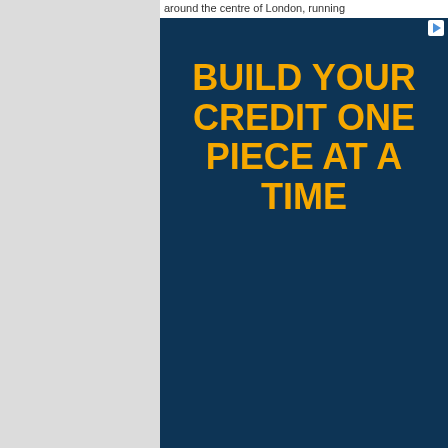around the centre of London, running
[Figure (infographic): Dark navy blue advertisement banner with bold gold/yellow text reading BUILD YOUR CREDIT ONE PIECE AT A TIME, with a small play/ad icon in the top right corner]